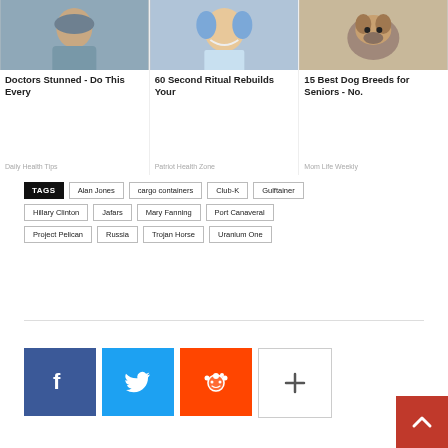[Figure (photo): Woman in grey medical scrubs standing outdoors]
Doctors Stunned - Do This Every
Daily Health Tips
[Figure (photo): Woman smiling with dental tools near her face, blue gloved hands]
60 Second Ritual Rebuilds Your
Patriot Health Zone
[Figure (photo): Small Yorkshire Terrier dog on carpet]
15 Best Dog Breeds for Seniors - No.
Mom Life Weekly
TAGS: Alan Jones, cargo containers, Club-K, Gulftainer, Hillary Clinton, Jafars, Mary Fanning, Port Canaveral, Project Pelican, Russia, Trojan Horse, Uranium One
[Figure (infographic): Social sharing buttons: Facebook, Twitter, Reddit, More (+), and a red back-to-top arrow button]